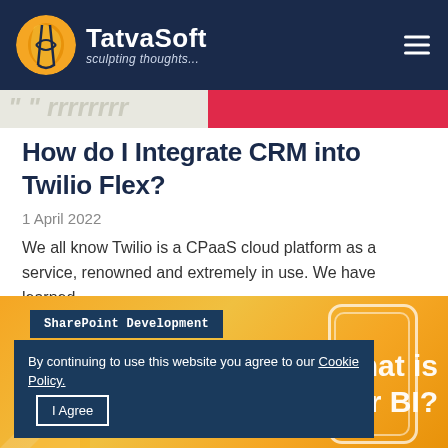TatvaSoft — sculpting thoughts...
How do I Integrate CRM into Twilio Flex?
1 April 2022
We all know Twilio is a CPaaS cloud platform as a service, renowned and extremely in use. We have learned...
[Figure (infographic): Promotional card with orange/yellow background showing 'SharePoint Development' badge and partial text 'hat is er BI?' with phone graphic]
By continuing to use this website you agree to our Cookie Policy.  I Agree